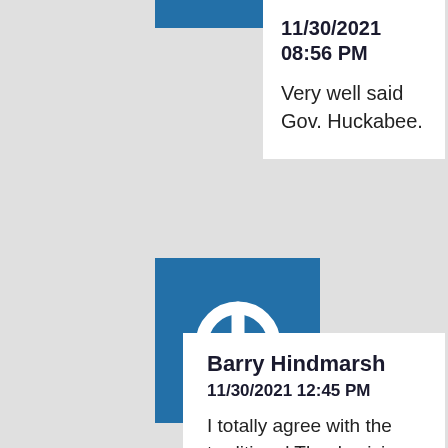11/30/2021 08:56 PM
Very well said Gov. Huckabee.
[Figure (logo): Blue square with white power button icon - user avatar]
Barry Hindmarsh
11/30/2021 12:45 PM
I totally agree with the traditional Thanksgiving